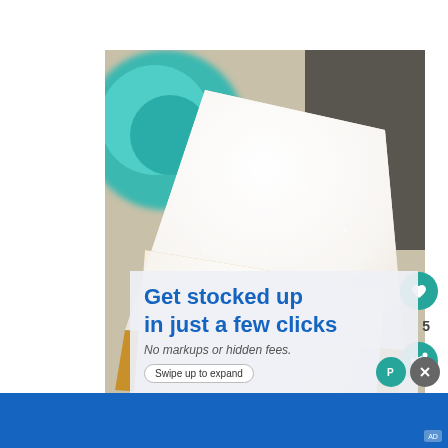[Figure (photo): Close-up photograph of beignets (French-style fried pastries) dusted heavily with powdered sugar, stacked on a plate. A teal/turquoise cup is visible in the background.]
5
Get stocked up in just a few clicks
No markups or hidden fees.
Swipe up to expand